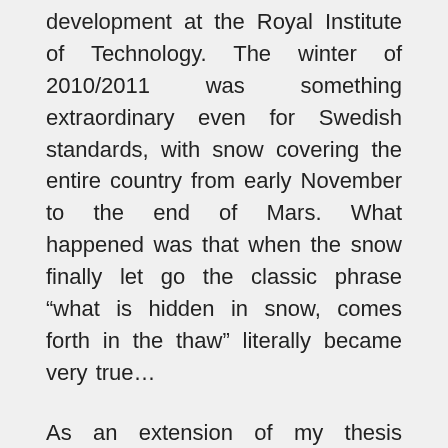development at the Royal Institute of Technology. The winter of 2010/2011 was something extraordinary even for Swedish standards, with snow covering the entire country from early November to the end of Mars. What happened was that when the snow finally let go the classic phrase “what is hidden in snow, comes forth in the thaw” literally became very true…
As an extension of my thesis project “System to reduce butt littering”, in association with the school Innovation Management, I continued to focus on products and ideas within the “exotic fields” of littering. The idea mostly had to do with trying to understand the psychological part and behavior behind butt littering. Why was butt